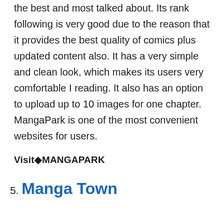the best and most talked about. Its rank following is very good due to the reason that it provides the best quality of comics plus updated content also. It has a very simple and clean look, which makes its users very comfortable I reading. It also has an option to upload up to 10 images for one chapter. MangaPark is one of the most convenient websites for users.
Visit◆MANGAPARK
5. Manga Town
MangaTown is one website with a database of manga comics that to town-sized.◆ MangaTown has a new look, unlike other manga comic websites that are still having older looked websites. It has a mind-blowing look